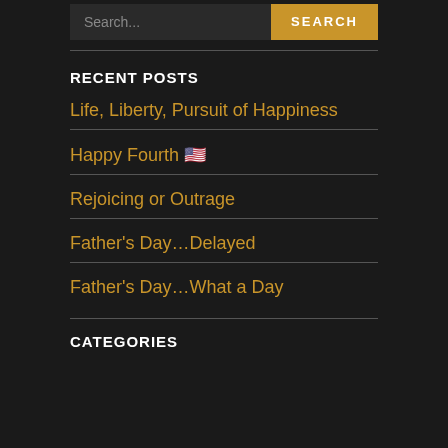Search...  SEARCH
RECENT POSTS
Life, Liberty, Pursuit of Happiness
Happy Fourth 🇺🇸
Rejoicing or Outrage
Father's Day…Delayed
Father's Day…What a Day
CATEGORIES